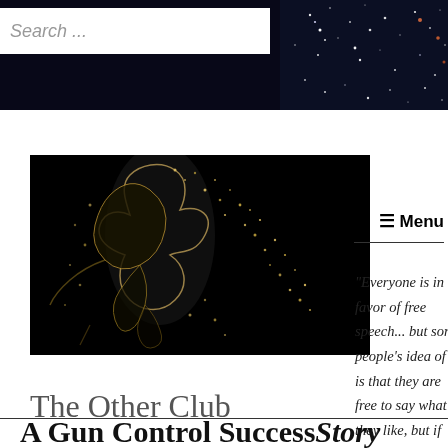Search ...
[Figure (photo): Dark image of an artistic glowing figure/silhouette against a black background with golden particles]
The Other Club
≡ Menu
“Everyone is in favor of free speech... but some people's idea of it is that they are free to say what they like, but if anyone else says anything back, that is an outrage
A Gun Control Success Story